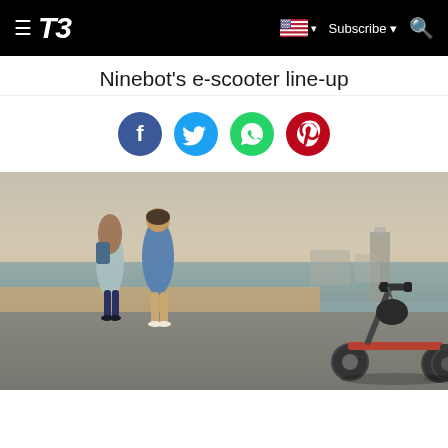T3 — navigation bar with logo, flag, Subscribe, and search icon
Ninebot's e-scooter line-up
[Figure (other): Social sharing icons row: Facebook (blue), Twitter (light blue), WhatsApp (green), Pinterest (red)]
[Figure (photo): Two electric scooters parked on a beachside promenade at dusk, with helmets hanging from the handlebars. Two people (a woman with a backpack and a man in a blue shirt) stand in the background looking at the sea. A tall building is visible on the right horizon.]